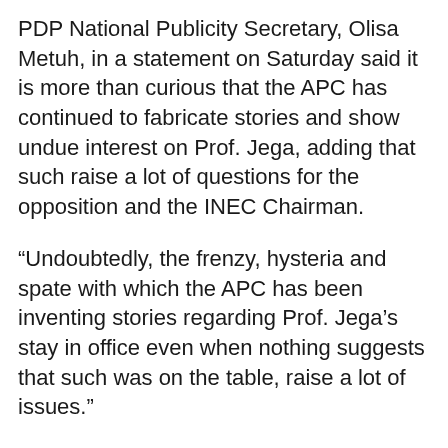PDP National Publicity Secretary, Olisa Metuh, in a statement on Saturday said it is more than curious that the APC has continued to fabricate stories and show undue interest on Prof. Jega, adding that such raise a lot of questions for the opposition and the INEC Chairman.
“Undoubtedly, the frenzy, hysteria and spate with which the APC has been inventing stories regarding Prof. Jega’s stay in office even when nothing suggests that such was on the table, raise a lot of issues.”
“We ask, is there any underlining issue or arrangement between APC and Prof. Jega which the opposition is hell-bent to protect, informing its anxiety and apprehension towards his stay in office?”